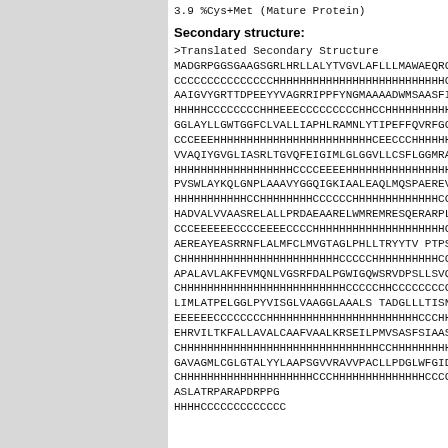3.9 %Cys+Met (Mature Protein)
Secondary structure:
>Translated Secondary Structure
MADGRPGGSGAAGSGRLHRLLALYTVGVLAFLLLMAWAEQRGMSRQ...
CCCCCCCCCCCCCCCHHHHHHHHHHHHHHHHHHHHHHHHHHCCCCCHH...
AAIGVYGRTTDPEEYYVAGRRIPPFYNGMAAAADWMSAASFISLSGA...
HHHHHCCCCCCCCHHHEECCCCCCCCCHHCCHHHHHHHHHHHHHHHHHCC...
GGLAYLLGWTGGFCLVALLIAPHLRAMNLYTIPEFFQVRFGGRWPR...
CCCEEEHHHHHHHHHHHHHHHHHHHHHHHCEECCCHHHHHHHHCCCCCCHH...
VVAQIYGVGLIASRLTGVQFEIGIMLGLGGVLLCSFLGGMRAITWT...
HHHHHHHHHHHHHHHHHHCCCCEEEEHHHHHHHHHHHHHHHHCCHHHHHHHH...
PVSWLAYKQLGNPLAAAVYGGQIGKIAALEAQLMQSPAEREVVAAH...
HHHHHHHHHHHCCHHHHHHHHHCCCCCCHHHHHHHHHHHHHHCCHHHHHHHHHH...
HADVALVVAASRELALLPRDAEAARELWMREMRESQERARPLGGLP...
CCCEEEEEECCCCEEECCCCHHHHHHHHHHHHHHHHHHHHHCCCCCCCC...
AEREAYEASRRNFLALMFCLMVGTAGLPHLLTRYYTVPTPSAARAR...
CHHHHHHHHHHHHHHHHHHHHHHHHCCCCCHHHHHHHHHHCCCCCCCCHHHHH...
APALAVLAKFEVMQNLVGSRFDALPGWIGQWSRVDPSLLSVQDVNG...
CHHHHHHHHHHHHHHHHHHHHHHHHCCCCCHHCCCCCCCCCCCEEEEECCC...
LIMLATPELGGLPYVISGLVAAGGLAAALSTADGLLLTISNALVRD...
EEEEECCCCCCCCHHHHHHHHHHHHHHHHHHHHHHCCCHHHHHHHHHHHHHH...
EHRVILTKFALLAVALCAAFVAALKRSEILPMVSASFSIAASAFVP...
CHHHHHHHHHHHHHHHHHHHHHHHHHHHHHHCCHHHHHHHHHHHHHHHHH...
GAVAGMLCGLGTALYYLAAPSGVVRAVVPACLLPDGLWFGIDPVSA...
CHHHHHHHHHHHHHHHHHHHCCCHHHHHHHHHHHHHHCCCCCCEECCCHHCC...
ASLATRPARAPDRPPG
HHHHCCCCCCCCCCCCCC